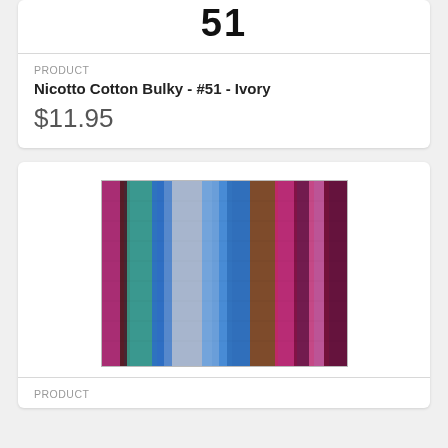[Figure (other): Product number 51 displayed at top of card (partially visible)]
PRODUCT
Nicotto Cotton Bulky - #51 - Ivory
$11.95
[Figure (photo): Close-up photo of multicolor yarn with stripes of blue, teal, green, gray, pink, purple, brown, and magenta colors]
PRODUCT